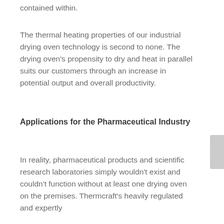contained within.
The thermal heating properties of our industrial drying oven technology is second to none. The drying oven's propensity to dry and heat in parallel suits our customers through an increase in potential output and overall productivity.
Applications for the Pharmaceutical Industry
In reality, pharmaceutical products and scientific research laboratories simply wouldn't exist and couldn't function without at least one drying oven on the premises. Thermcraft's heavily regulated and expertly